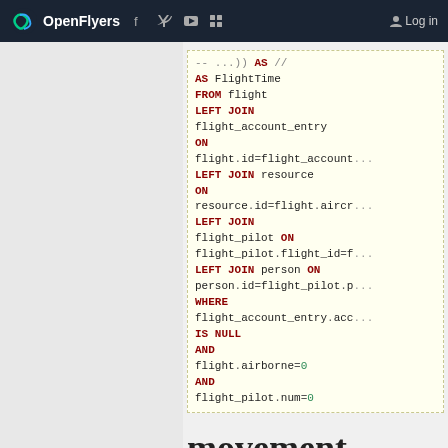OpenFlyers — Log in
[Figure (screenshot): SQL code block showing a query with AS FlightTime, FROM flight, LEFT JOIN flight_account_entry ON flight.id=flight_account..., LEFT JOIN resource ON resource.id=flight.aircr..., LEFT JOIN flight_pilot ON flight_pilot.flight_id=f..., LEFT JOIN person ON person.id=flight_pilot.p..., WHERE flight_account_entry.acc... IS NULL AND flight.airborne=0 AND flight_pilot.num=0]
movement without an